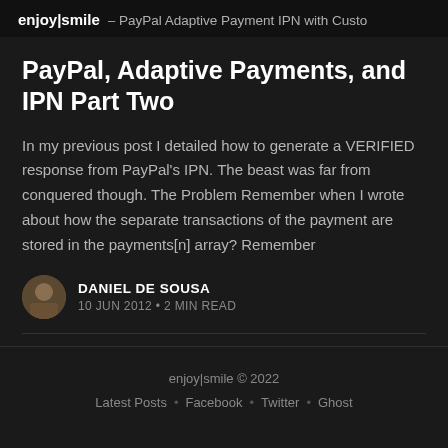enjoy|smile – PayPal Adaptive Payment IPN with Custo
PayPal, Adaptive Payments, and IPN Part Two
In my previous post I detailed how to generate a VERIFIED response from PayPal's IPN. The beast was far from conquered though. The Problem Remember when I wrote about how the separate transactions of the payment are stored in the payments[n] array? Remember
DANIEL DE SOUSA
10 JUN 2012 · 2 MIN READ
enjoy|smile © 2022
Latest Posts · Facebook · Twitter · Ghost